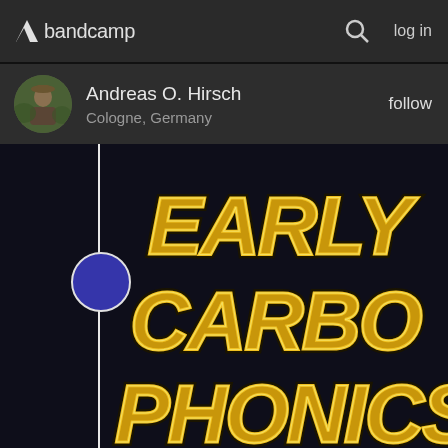bandcamp  log in
Andreas O. Hirsch
Cologne, Germany
follow
[Figure (illustration): Album art for 'Early Carbophonics' — large gold/yellow bold stylized text on a dark navy/black background reading EARLY CARBO PHONICS in three lines, with heavy outlined blocky lettering. A white vertical timeline line with a dark blue/purple filled circle is overlaid on the left side of the image.]